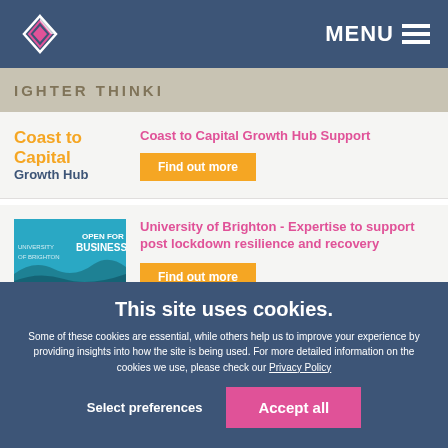MENU
IGHTER THINKI
Coast to Capital Growth Hub Support
Find out more
University of Brighton - Expertise to support post lockdown resilience and recovery
Find out more
This site uses cookies.
Some of these cookies are essential, while others help us to improve your experience by providing insights into how the site is being used. For more detailed information on the cookies we use, please check our Privacy Policy
Select preferences
Accept all